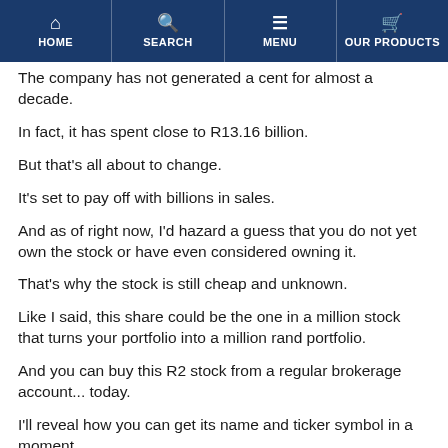HOME | SEARCH | MENU | OUR PRODUCTS
The company has not generated a cent for almost a decade.
In fact, it has spent close to R13.16 billion.
But that's all about to change.
It's set to pay off with billions in sales.
And as of right now, I'd hazard a guess that you do not yet own the stock or have even considered owning it.
That's why the stock is still cheap and unknown.
Like I said, this share could be the one in a million stock that turns your portfolio into a million rand portfolio.
And you can buy this R2 stock from a regular brokerage account... today.
I'll reveal how you can get its name and ticker symbol in a moment.